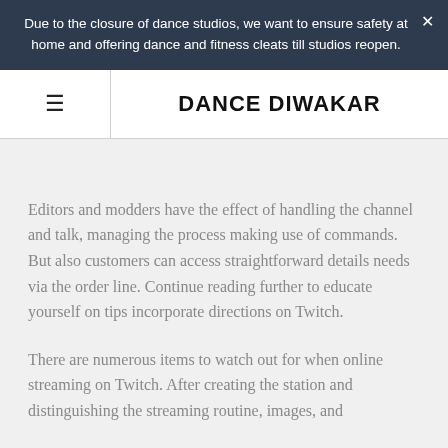Due to the closure of dance studios, we want to ensure safety at home and offering dance and fitness cleats till studios reopen.
DANCE DIWAKAR
Editors and modders have the effect of handling the channel and talk, managing the process making use of commands. But also customers can access straightforward details needs via the order line. Continue reading further to educate yourself on tips incorporate directions on Twitch.
There are numerous items to watch out for when online streaming on Twitch. After creating the station and distinguishing the streaming routine, images, and